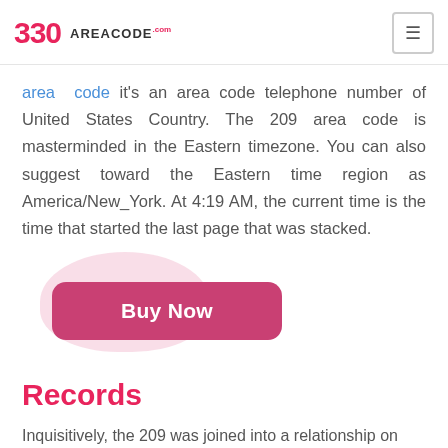330 AREACODE.com
area code it's an area code telephone number of United States Country. The 209 area code is masterminded in the Eastern timezone. You can also suggest toward the Eastern time region as America/New_York. At 4:19 AM, the current time is the time that started the last page that was stacked.
[Figure (other): Pink decorative blob shape with a 'Buy Now' button in dark pink/magenta rounded rectangle below it]
Records
Inquisitively, the 209 was joined into a relationship on